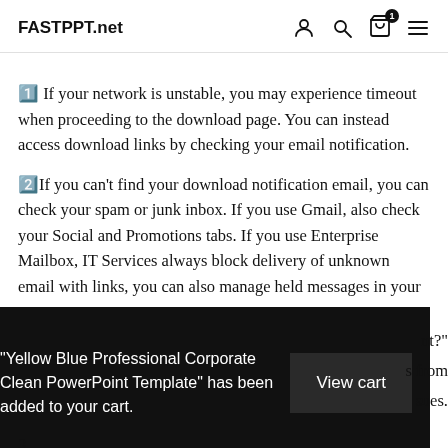FASTPPT.net
1️⃣ If your network is unstable, you may experience timeout when proceeding to the download page. You can instead access download links by checking your email notification.
2️⃣If you can't find your download notification email, you can check your spam or junk inbox. If you use Gmail, also check your Social and Promotions tabs. If you use Enterprise Mailbox, IT Services always block delivery of unknown email with links, you can also manage held messages in your
[Figure (screenshot): Dark popup overlay showing cart notification: "Yellow Blue Professional Corporate Clean PowerPoint Template" has been added to your cart. with a View cart button.]